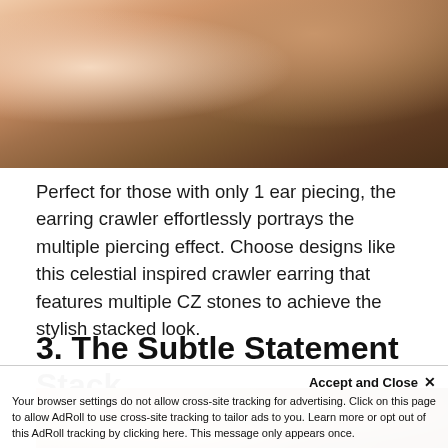[Figure (photo): Close-up photo of a person's ear area showing skin and brown hair, cropped at the top of the page]
Perfect for those with only 1 ear piecing, the earring crawler effortlessly portrays the multiple piercing effect. Choose designs like this celestial inspired crawler earring that features multiple CZ stones to achieve the stylish stacked look.
3. The Subtle Statement Stack
[Figure (photo): Close-up photo of a person's ear and hair, partially visible at bottom of page]
Accept and Close ✕
Your browser settings do not allow cross-site tracking for advertising. Click on this page to allow AdRoll to use cross-site tracking to tailor ads to you. Learn more or opt out of this AdRoll tracking by clicking here. This message only appears once.